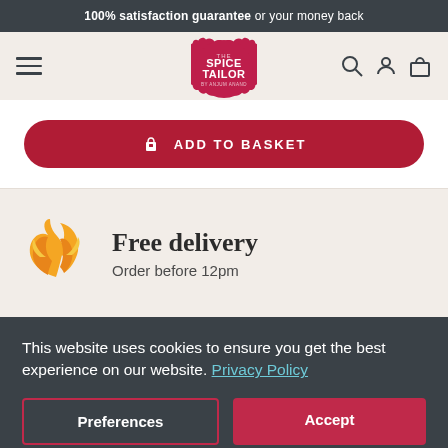100% satisfaction guarantee or your money back
[Figure (logo): The Spice Tailor logo — pink scalloped badge with white text]
ADD TO BASKET
Free delivery
Order before 12pm
This website uses cookies to ensure you get the best experience on our website. Privacy Policy
Preferences
Accept